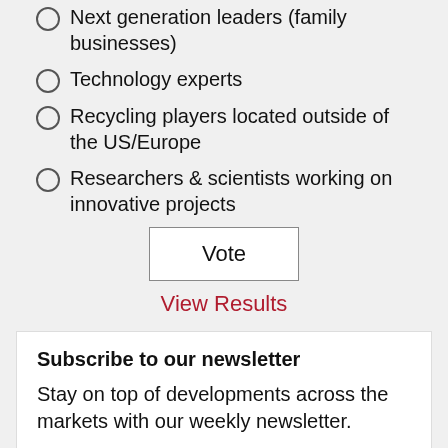Next generation leaders (family businesses)
Technology experts
Recycling players located outside of the US/Europe
Researchers & scientists working on innovative projects
Vote
View Results
Subscribe to our newsletter
Stay on top of developments across the markets with our weekly newsletter.
your@email.com  Sign Up